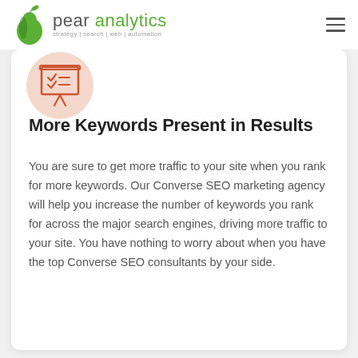pear analytics — strategy | search | web | automation
[Figure (illustration): Orange presentation board icon with checkmarks on a circular light pink/peach background]
More Keywords Present in Results
You are sure to get more traffic to your site when you rank for more keywords. Our Converse SEO marketing agency will help you increase the number of keywords you rank for across the major search engines, driving more traffic to your site. You have nothing to worry about when you have the top Converse SEO consultants by your side.